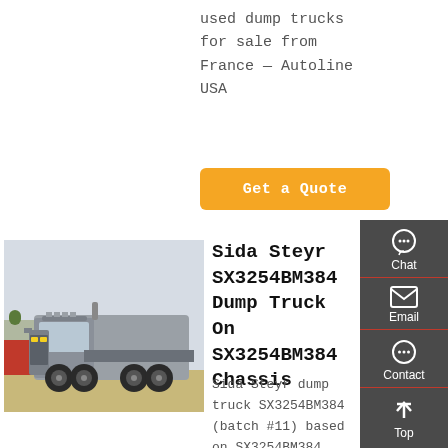used dump trucks for sale from France — Autoline USA
Get a Quote
[Figure (photo): Silver Sida Steyr heavy dump truck / tractor unit parked outdoors, 6-wheel drive, front quarter view]
Sida Steyr SX3254BM384 Dump Truck On SX3254BM384 Chassis
Sida Steyr dump truck SX3254BM384 (batch #11) based on SX3254BM384 chassis is made in China
Chat
Email
Contact
Top